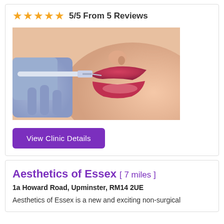5/5 From 5 Reviews
[Figure (photo): Close-up photo of a woman receiving a lip filler injection from a gloved hand holding a syringe]
View Clinic Details
Aesthetics of Essex [ 7 miles ]
1a Howard Road, Upminster, RM14 2UE
Aesthetics of Essex is a new and exciting non-surgical